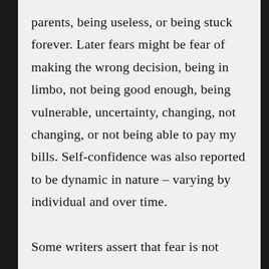parents, being useless, or being stuck forever. Later fears might be fear of making the wrong decision, being in limbo, not being good enough, being vulnerable, uncertainty, changing, not changing, or not being able to pay my bills. Self-confidence was also reported to be dynamic in nature – varying by individual and over time.

Some writers assert that fear is not